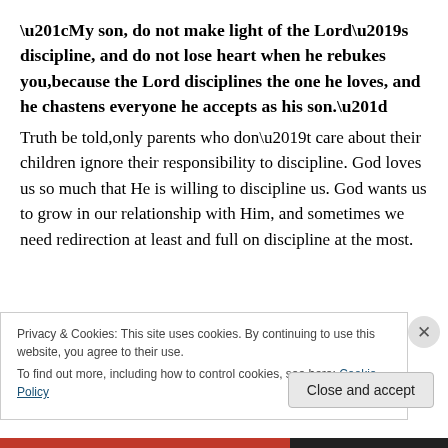“My son, do not make light of the Lord’s discipline, and do not lose heart when he rebukes you,because the Lord disciplines the one he loves, and he chastens everyone he accepts as his son.”
Truth be told,only parents who don’t care about their children ignore their responsibility to discipline. God loves us so much that He is willing to discipline us. God wants us to grow in our relationship with Him, and sometimes we need redirection at least and full on discipline at the most.
Privacy & Cookies: This site uses cookies. By continuing to use this website, you agree to their use.
To find out more, including how to control cookies, see here: Cookie Policy